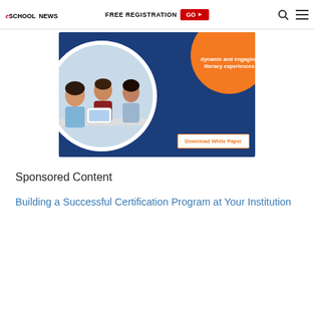eSchool News | FREE REGISTRATION GO ►
[Figure (illustration): Advertisement banner with dark blue background showing a white circle containing a teacher and two students working on a tablet, an orange circle with text 'dynamic and engaging literacy experiences', and a 'Download White Paper' button.]
Sponsored Content
Building a Successful Certification Program at Your Institution